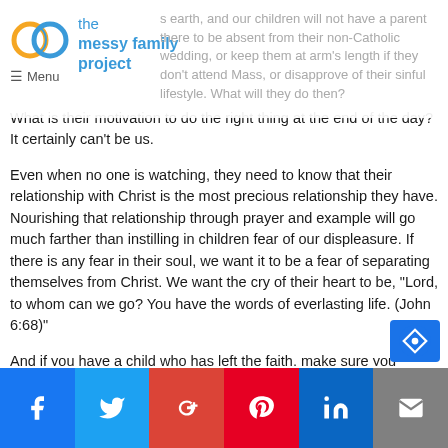the messy family project
s earth, and our children will not have a parent there to be absent from their non-Catholic wedding, or keep them at arm's length if they don't attend Mass, or disapprove of their sinful lifestyle. What will they do then?
What is their motivation to do the right thing at the end of the day? It certainly can't be us.
Even when no one is watching, they need to know that their relationship with Christ is the most precious relationship they have. Nourishing that relationship through prayer and example will go much farther than instilling in children fear of our displeasure. If there is any fear in their soul, we want it to be a fear of separating themselves from Christ. We want the cry of their heart to be, “Lord, to whom can we go? You have the words of everlasting life. (John 6:68)”
And if you have a child who has left the faith, make sure you communicate clearly and consistently that you will not only always love them, but that you will do all you can to stay in